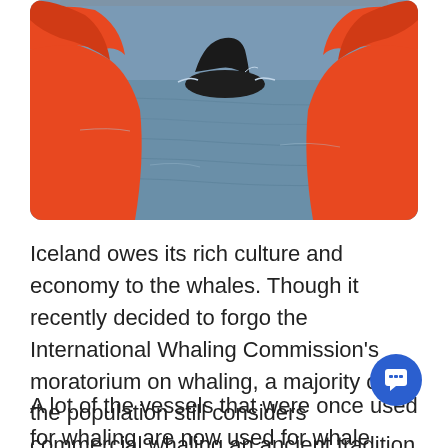[Figure (photo): Two people in orange hooded jackets viewed from behind, watching a whale (dorsal fin visible) surfacing in grey-blue ocean water.]
Iceland owes its rich culture and economy to the whales. Though it recently decided to forgo the International Whaling Commission's moratorium on whaling, a majority of the population still considers commercial whaling an ancient tradition that needs to go.
A lot of the vessels that were once used for whaling are now used for whale watching